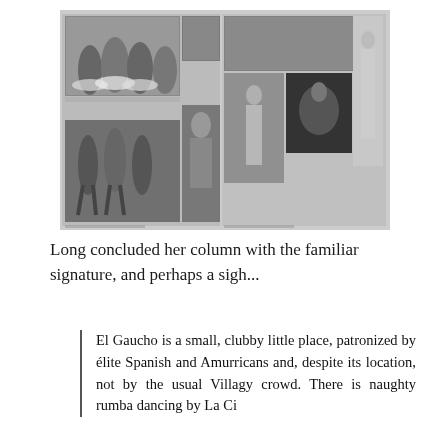[Figure (photo): A collage of black-and-white photographs showing performers and dancers, appearing to be from a vintage entertainment/theatre book spread. Multiple photos show dancers in costumes, a male performer, and artistic nude/semi-nude figures.]
Long concluded her column with the familiar signature, and perhaps a sigh...
El Gaucho is a small, clubby little place, patronized by élite Spanish and Amurricans and, despite its location, not by the usual Villagy crowd. There is naughty rumba dancing by La Ci...